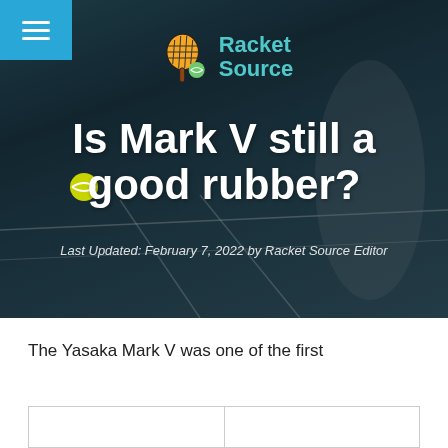[Figure (screenshot): Website header hero image: tennis court background with player hitting ball, showing Racket Source logo with racket and ball icon, navigation menu button top left]
Is Mark V still a good rubber?
Last Updated: February 7, 2022 by Racket Source Editor
The Yasaka Mark V was one of the first